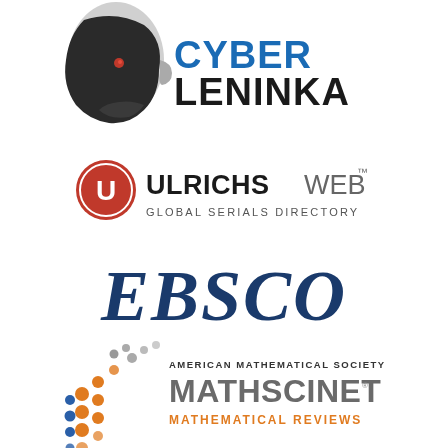[Figure (logo): CyberLeninka logo - robotic head silhouette with blue and black text]
[Figure (logo): UlrichsWeb Global Serials Directory logo - red circle with U and bold text]
[Figure (logo): EBSCO logo in dark navy italic serif font]
[Figure (logo): American Mathematical Society MathSciNet Mathematical Reviews logo with colored dots pattern]